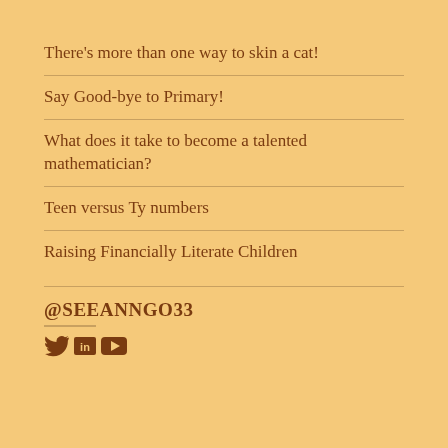There’s more than one way to skin a cat!
Say Good-bye to Primary!
What does it take to become a talented mathematician?
Teen versus Ty numbers
Raising Financially Literate Children
@SEEANNGO33
[Figure (infographic): Social media icons: Twitter bird, LinkedIn 'in', YouTube play button]